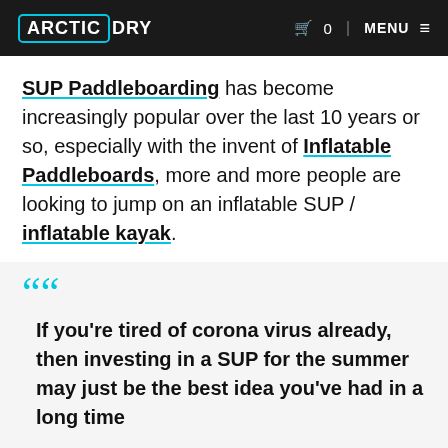ARCTIC DRY   🛒 0 | MENU ≡
SUP Paddleboarding has become increasingly popular over the last 10 years or so, especially with the invent of Inflatable Paddleboards, more and more people are looking to jump on an inflatable SUP / inflatable kayak.
If you're tired of corona virus already, then investing in a SUP for the summer may just be the best idea you've had in a long time